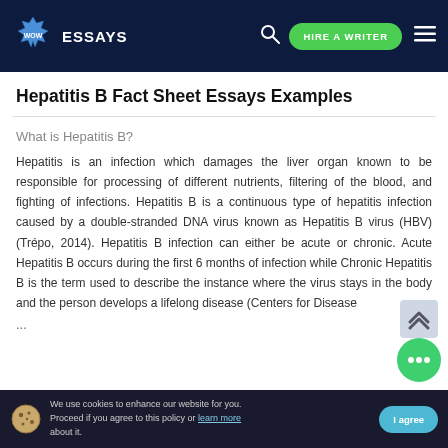WOW ESSAYS | HIRE A WRITER
Hepatitis B Fact Sheet Essays Examples
What is Hepatitis B?
Hepatitis is an infection which damages the liver organ known to be responsible for processing of different nutrients, filtering of the blood, and fighting of infections. Hepatitis B is a continuous type of hepatitis infection caused by a double-stranded DNA virus known as Hepatitis B virus (HBV) (Trépo, 2014). Hepatitis B infection can either be acute or chronic. Acute Hepatitis B occurs during the first 6 months of infection while Chronic Hepatitis B is the term used to describe the instance where the virus stays in the body and the person develops a lifelong disease (Centers for Disease ...
We use cookies to enhance our website for you. Proceed if you agree to this policy or learn more about it. | I agree